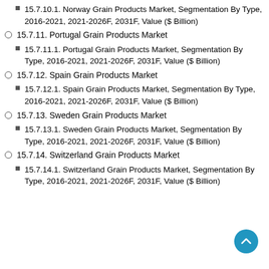15.7.10.1. Norway Grain Products Market, Segmentation By Type, 2016-2021, 2021-2026F, 2031F, Value ($ Billion)
15.7.11. Portugal Grain Products Market
15.7.11.1. Portugal Grain Products Market, Segmentation By Type, 2016-2021, 2021-2026F, 2031F, Value ($ Billion)
15.7.12. Spain Grain Products Market
15.7.12.1. Spain Grain Products Market, Segmentation By Type, 2016-2021, 2021-2026F, 2031F, Value ($ Billion)
15.7.13. Sweden Grain Products Market
15.7.13.1. Sweden Grain Products Market, Segmentation By Type, 2016-2021, 2021-2026F, 2031F, Value ($ Billion)
15.7.14. Switzerland Grain Products Market
15.7.14.1. Switzerland Grain Products Market, Segmentation By Type, 2016-2021, 2021-2026F, 2031F, Value ($ Billion)